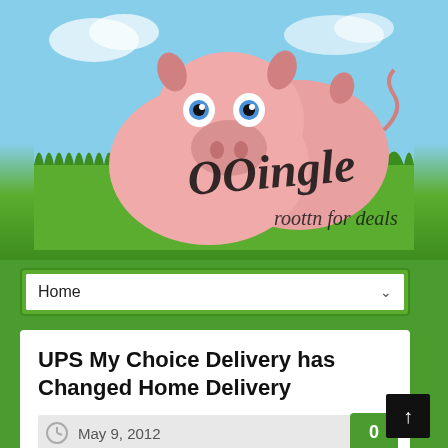[Figure (logo): OOingle logo with two cartoon pink pigs on a grass and sky background, with text 'OOingle roottn for deals']
Home
UPS My Choice Delivery has Changed Home Delivery
May 9, 2012
0